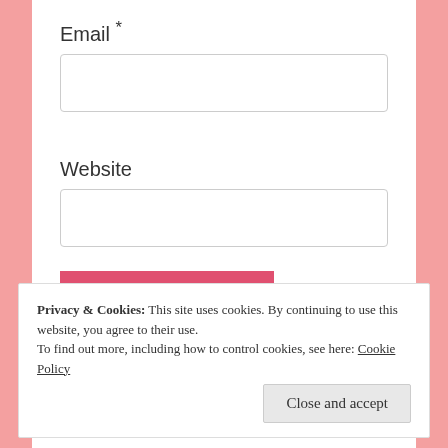Email *
[Figure (other): Empty email input text box]
Website
[Figure (other): Empty website input text box]
POST COMMENT
Privacy & Cookies: This site uses cookies. By continuing to use this website, you agree to their use.
To find out more, including how to control cookies, see here: Cookie Policy
Close and accept